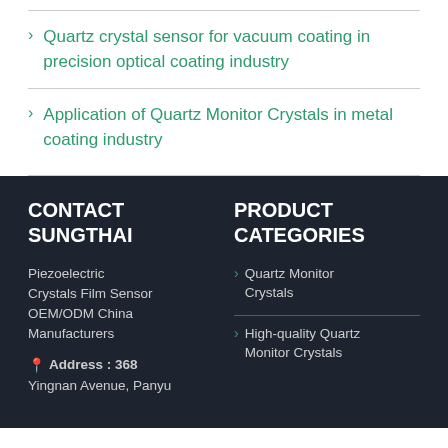Quartz crystal sensor for vacuum coating in precision optical coating industry
Application of Quartz Monitor Crystals in metal coating industry
CONTACT SUNGTHAI
Piezoelectric Crystals Film Sensor OEM/ODM China Manufacturers
Address : 368
Yingnan Avenue, Panyu
PRODUCT CATEGORIES
Quartz Monitor Crystals
High-quality Quartz Monitor Crystals